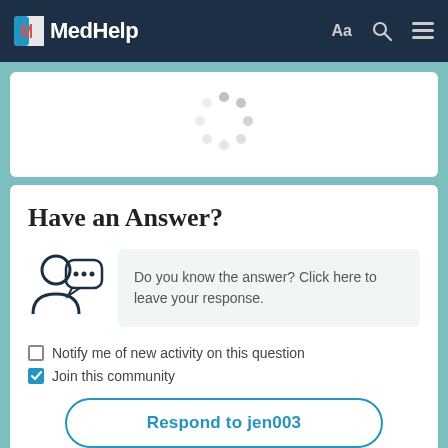MedHelp
[Figure (other): Loading spinner with circular dots in gray]
Have an Answer?
[Figure (illustration): User/person icon with speech bubble containing ellipsis (...)]
Do you know the answer? Click here to leave your response.
Notify me of new activity on this question
Join this community
Respond to jen003